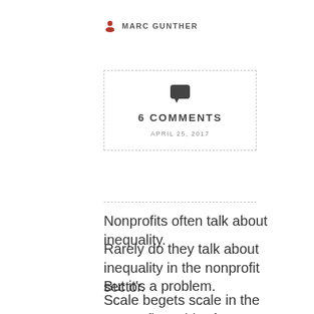MARC GUNTHER
[Figure (infographic): Dashed border box with speech bubble icon, text '6 COMMENTS' and date 'APRIL 25, 2017']
Nonprofits often talk about inequality.
Rarely do they talk about inequality in the nonprofit sector.
But it’s a problem.
Scale begets scale in the nonprofit world. Big nonprofits, with their brand names and hefty marketing